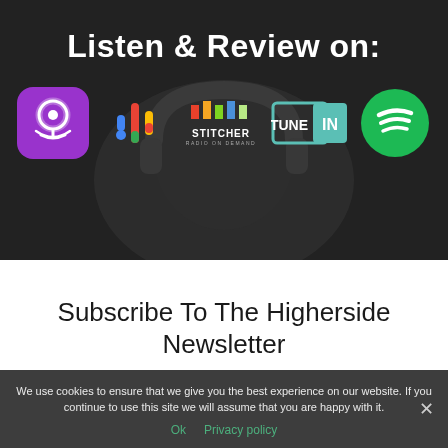Listen & Review on:
[Figure (logo): Row of podcast platform logos: Apple Podcasts (purple rounded square with microphone icon), Google Podcasts (colorful vertical bars), Stitcher (text logo), TuneIn (teal bordered rectangle with IN text), Spotify (green circle with sound waves)]
Subscribe To The Higherside Newsletter
We use cookies to ensure that we give you the best experience on our website. If you continue to use this site we will assume that you are happy with it.
Ok   Privacy policy